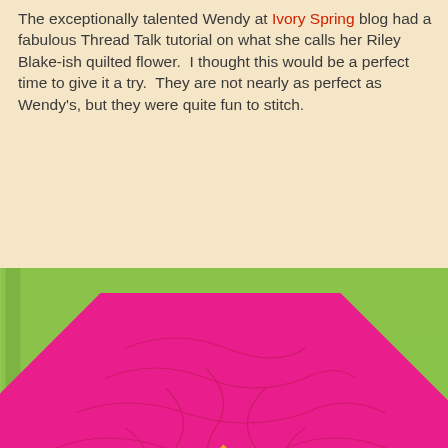The exceptionally talented Wendy at Ivory Spring blog had a fabulous Thread Talk tutorial on what she calls her Riley Blake-ish quilted flower.  I thought this would be a perfect time to give it a try.  They are not nearly as perfect as Wendy's, but they were quite fun to stitch.
[Figure (photo): A quilted flower block showing a large pink octagonal flower with swirling quilted texture and a yellow diamond center, set against a lime green background with a dark green border on the right side.]
[Figure (photo): A partially visible quilt showing green patterned fabric with black border, pink fabric with a yellow diamond, and floral fabric with green and white design, laid on a neutral surface.]